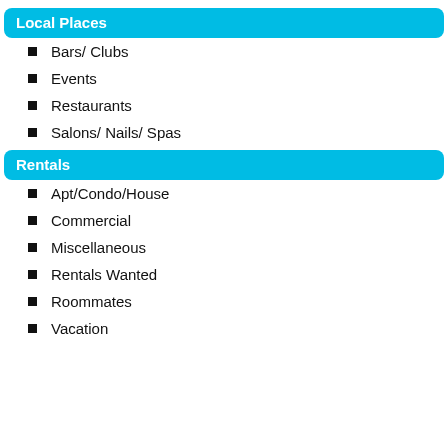Local Places
Bars/ Clubs
Events
Restaurants
Salons/ Nails/ Spas
Rentals
Apt/Condo/House
Commercial
Miscellaneous
Rentals Wanted
Roommates
Vacation